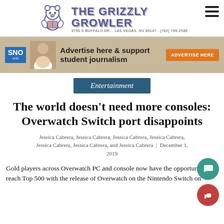THE GRIZZLY GROWLER — 3750 S BUFFALO DR... LAS VEGAS, NV 89147 · (702) 799-2580
[Figure (logo): The Grizzly Growler masthead with grizzly bear mascot illustration and text logo]
[Figure (infographic): SNO ads banner: Advertise here & support student journalism — ADVERTISE HERE button]
Entertainment
The world doesn't need more consoles: Overwatch Switch port disappoints
Jessica Cabrera, Jessica Cabrera, Jessica Cabrera, Jessica Cabrera, Jessica Cabrera, Jessica Cabrera, and Jessica Cabrera | December 1, 2019
Gold players across Overwatch PC and console now have the opportunity to reach Top 500 with the release of Overwatch on the Nintendo Switch on